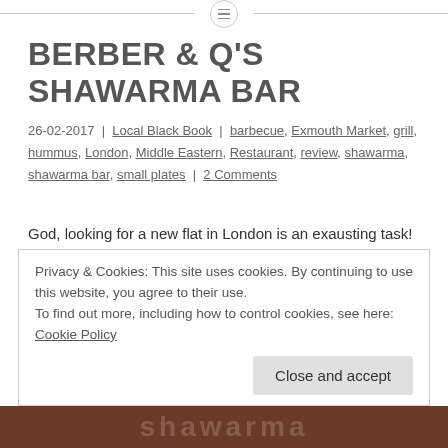[menu icon]
BERBER & Q'S SHAWARMA BAR
26-02-2017 | Local Black Book | barbecue, Exmouth Market, grill, hummus, London, Middle Eastern, Restaurant, review, shawarma, shawarma bar, small plates | 2 Comments
God, looking for a new flat in London is an exausting task!
So after a loooooong morning of (rather unsuccessful) viewings, when we found ourselves right around the corner of my favourite little pocket of London, we decided to take a
Privacy & Cookies: This site uses cookies. By continuing to use this website, you agree to their use.
To find out more, including how to control cookies, see here: Cookie Policy
Close and accept
[Figure (photo): Partial view of a shawarma bar image with text overlay reading 'shawarma' in large stylized letters]